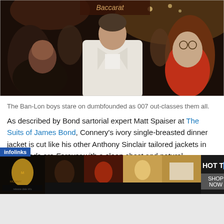[Figure (photo): Film still from Diamonds are Forever showing Sean Connery in a white dinner jacket with black bow tie, standing amid a crowd in a casino. A woman in dark clothing is in the foreground left, and an older man in a red shirt is on the right.]
The Ban-Lon boys stare on dumbfounded as 007 out-classes them all.
As described by Bond sartorial expert Matt Spaiser at The Suits of James Bond, Connery's ivory single-breasted dinner jacket is cut like his other Anthony Sinclair tailored jackets in Diamonds are Forever with a clean chest and natural shoulders with roped sleeveheads. The self-faced peak lapels with their high gorges are a traditional and tasteful width, rolling down to a single mother-of-pearl four-hole sew-through button. The four
[Figure (advertisement): Infolinks advertisement banner showing movie/music thumbnails on dark background with HOT TO text and SHOP NOW button]